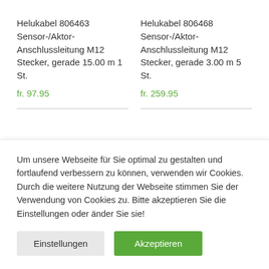Helukabel 806463 Sensor-/Aktor-Anschlussleitung M12 Stecker, gerade 15.00 m 1 St.
fr. 97.95
Helukabel 806468 Sensor-/Aktor-Anschlussleitung M12 Stecker, gerade 3.00 m 5 St.
fr. 259.95
Um unsere Webseite für Sie optimal zu gestalten und fortlaufend verbessern zu können, verwenden wir Cookies. Durch die weitere Nutzung der Webseite stimmen Sie der Verwendung von Cookies zu. Bitte akzeptieren Sie die Einstellungen oder änder Sie sie!
Einstellungen
Akzeptieren